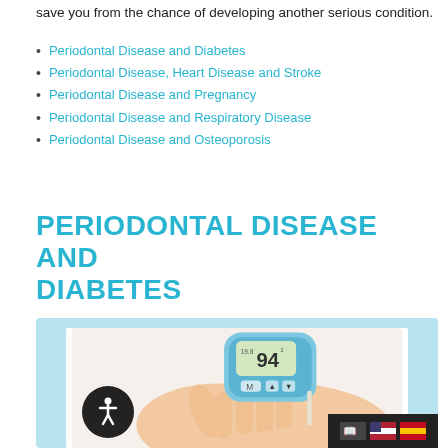save you from the chance of developing another serious condition.
Periodontal Disease and Diabetes
Periodontal Disease, Heart Disease and Stroke
Periodontal Disease and Pregnancy
Periodontal Disease and Respiratory Disease
Periodontal Disease and Osteoporosis
PERIODONTAL DISEASE AND DIABETES
[Figure (photo): A hand holding a blood glucose meter displaying the number 94, with a finger being pricked for a blood sample.]